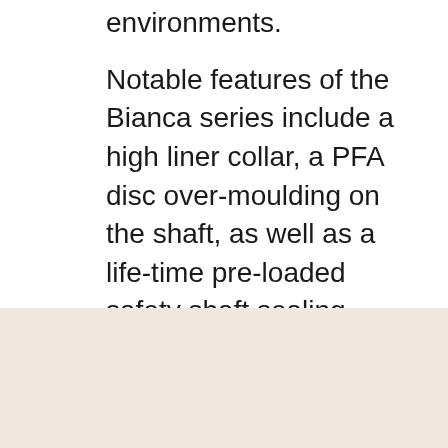environments. Notable features of the Bianca series include a high liner collar, a PFA disc over-moulding on the shaft, as well as a life-time pre-loaded safety shaft sealing, ensure reliable primary and long-lasting secondary shaft sealing, even for demanding operating cycles and at high temperatures. The chambered liner prevents cold flow at the flange sealing surface for increased service life and the PTFE liner, in combination with the PFA-overmoulded disc, ensures low friction, thus longer life of the system. Other features include an external shaft sealing mechanism to protect the valve neck hole and a robust self-lubricating and maintenance-free bushing. A Stainless Steel valve label enables full traceability. RMG stocks a wide range of semi-finished